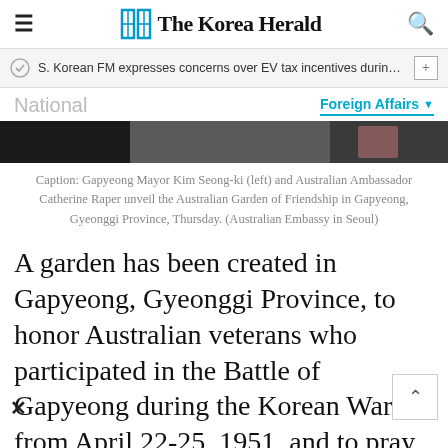The Korea Herald
S. Korean FM expresses concerns over EV tax incentives during c…
National
Foreign Affairs
[Figure (photo): Dark photo strip showing an outdoor scene at Gapyeong, partially visible]
Caption: Gapyeong Mayor Kim Seong-ki (left) and Australian Ambassador Catherine Raper unveil the Australian Garden of Friendship in Gapyeong, Gyeonggi Province, Thursday. (Australian Embassy in Seoul)
A garden has been created in Gapyeong, Gyeonggi Province, to honor Australian veterans who participated in the Battle of Gapyeong during the Korean War from April 22-25, 1951, and to pray for future peace.